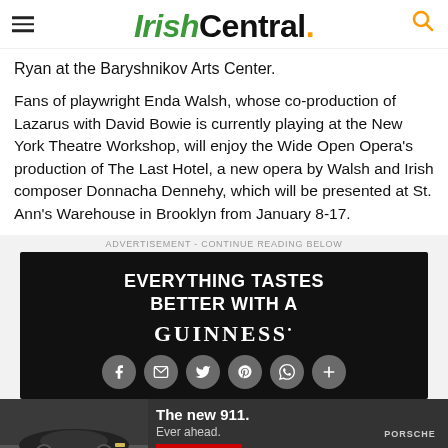IrishCentral.
Ryan at the Baryshnikov Arts Center.
Fans of playwright Enda Walsh, whose co-production of Lazarus with David Bowie is currently playing at the New York Theatre Workshop, will enjoy the Wide Open Opera's production of The Last Hotel, a new opera by Walsh and Irish composer Donnacha Dennehy, which will be presented at St. Ann's Warehouse in Brooklyn from January 8-17.
[Figure (other): Guinness advertisement with text 'Everything Tastes Better With A Guinness' on black background with social share icons]
[Figure (other): Porsche advertisement for The new 911. Ever ahead. with Learn More button and Porsche logo, showing car on road]